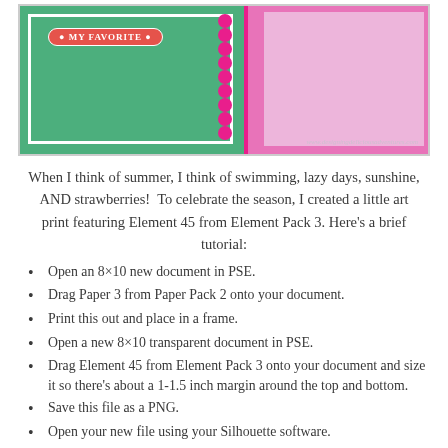[Figure (photo): Photo of a scrapbook/craft project featuring a green ticket-shaped element with 'MY FAVORITE' badge text on a pink/magenta background, with a watermark reading www.designingdeliciousadventures.com]
When I think of summer, I think of swimming, lazy days, sunshine, AND strawberries!  To celebrate the season, I created a little art print featuring Element 45 from Element Pack 3. Here's a brief tutorial:
Open an 8×10 new document in PSE.
Drag Paper 3 from Paper Pack 2 onto your document.
Print this out and place in a frame.
Open a new 8×10 transparent document in PSE.
Drag Element 45 from Element Pack 3 onto your document and size it so there's about a 1-1.5 inch margin around the top and bottom.
Save this file as a PNG.
Open your new file using your Silhouette software.
Trace the outer edges of the graphic and then use the print and cut feature of the Silhouette...